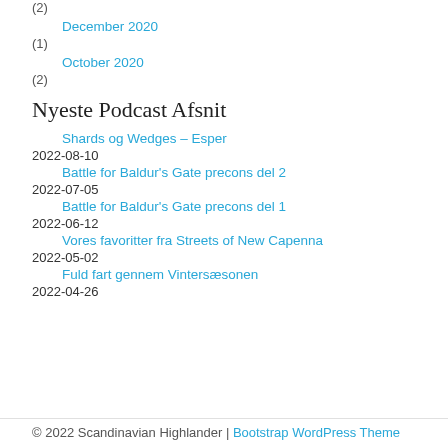(2)
December 2020
(1)
October 2020
(2)
Nyeste Podcast Afsnit
Shards og Wedges – Esper
2022-08-10
Battle for Baldur's Gate precons del 2
2022-07-05
Battle for Baldur's Gate precons del 1
2022-06-12
Vores favoritter fra Streets of New Capenna
2022-05-02
Fuld fart gennem Vintersæsonen
2022-04-26
© 2022 Scandinavian Highlander | Bootstrap WordPress Theme